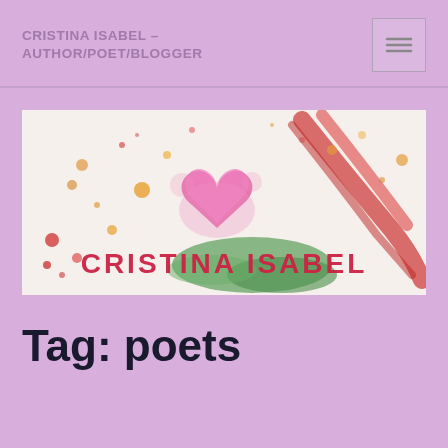CRISTINA ISABEL – AUTHOR/POET/BLOGGER
[Figure (photo): Colorful artistic banner with exploding paint/chalk colors (pink, red, green, orange) surrounding a pink heart shape, with the text 'CRISTINA ISABEL' written in red/pink letters at the bottom center of the image.]
Tag: poets